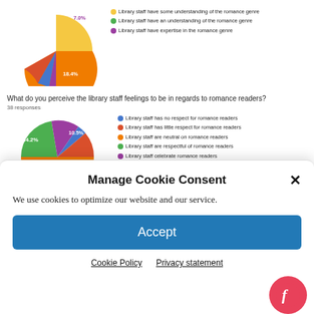[Figure (pie-chart): (top pie chart, partial)]
What do you perceive the library staff feelings to be in regards to romance readers?
38 responses
[Figure (pie-chart): Library staff feelings towards romance readers]
Manage Cookie Consent
We use cookies to optimize our website and our service.
Accept
Cookie Policy   Privacy statement